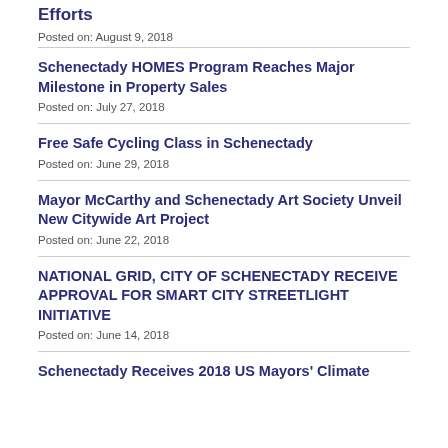Efforts
Posted on: August 9, 2018
Schenectady HOMES Program Reaches Major Milestone in Property Sales
Posted on: July 27, 2018
Free Safe Cycling Class in Schenectady
Posted on: June 29, 2018
Mayor McCarthy and Schenectady Art Society Unveil New Citywide Art Project
Posted on: June 22, 2018
NATIONAL GRID, CITY OF SCHENECTADY RECEIVE APPROVAL FOR SMART CITY STREETLIGHT INITIATIVE
Posted on: June 14, 2018
Schenectady Receives 2018 US Mayors' Climate